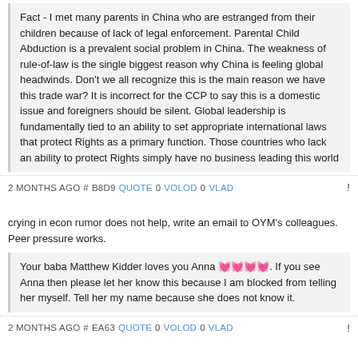Fact - I met many parents in China who are estranged from their children because of lack of legal enforcement. Parental Child Abduction is a prevalent social problem in China. The weakness of rule-of-law is the single biggest reason why China is feeling global headwinds. Don't we all recognize this is the main reason we have this trade war? It is incorrect for the CCP to say this is a domestic issue and foreigners should be silent. Global leadership is fundamentally tied to an ability to set appropriate international laws that protect Rights as a primary function. Those countries who lack an ability to protect Rights simply have no business leading this world
2 MONTHS AGO # B8D9 QUOTE 0 VOLOD 0 VLAD !
crying in econ rumor does not help, write an email to OYM's colleagues. Peer pressure works.
Your baba Matthew Kidder loves you Anna 💓💓💓💓. If you see Anna then please let her know this because I am blocked from telling her myself. Tell her my name because she does not know it.
2 MONTHS AGO # EA63 QUOTE 0 VOLOD 0 VLAD !
Firstly, the main purpose of the message is mainly to leave bread crumbs for